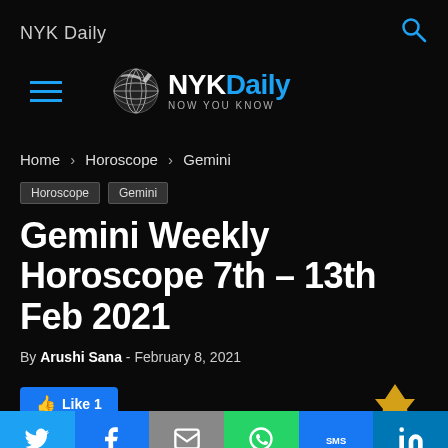NYK Daily
[Figure (logo): NYKDaily globe logo with text 'NYKDaily Now You Know']
Home › Horoscope › Gemini
Horoscope  Gemini
Gemini Weekly Horoscope 7th – 13th Feb 2021
By Arushi Sana - February 8, 2021
[Figure (screenshot): Like button showing 'Like 1' in Facebook blue, share buttons row, and social media bottom bar with Twitter, Facebook, Email, WhatsApp, SMS, LinkedIn icons]